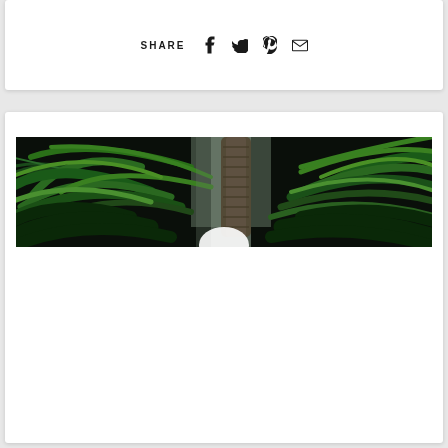SHARE
[Figure (photo): Tropical jungle scene with palm trees and lush green foliage viewed from below, with a gray sky/light visible through the canopy. A white rounded shape appears at the bottom center.]